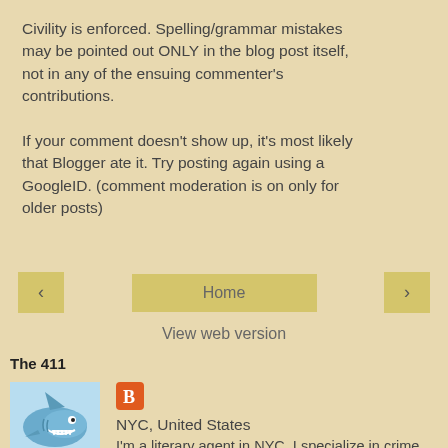Civility is enforced. Spelling/grammar mistakes may be pointed out ONLY in the blog post itself, not in any of the ensuing commenter's contributions.
If your comment doesn't show up, it's most likely that Blogger ate it. Try posting again using a GoogleID. (comment moderation is on only for older posts)
‹   Home   ›
View web version
The 411
[Figure (photo): Blogger profile icon (orange square with white B)]
NYC, United States
I'm a literary agent in NYC. I specialize in crime fiction and narrative non-fiction (history and biography.) I'll be...